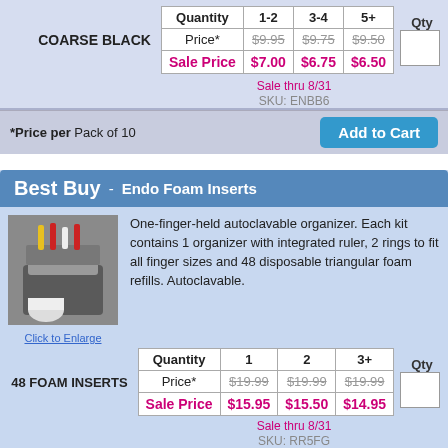| Quantity | 1-2 | 3-4 | 5+ | Qty |
| --- | --- | --- | --- | --- |
| Price* | $9.95 | $9.75 | $9.50 |  |
| Sale Price | $7.00 | $6.75 | $6.50 |  |
COARSE BLACK
Sale thru 8/31
SKU: ENBB6
*Price per Pack of 10
Add to Cart
Best Buy - Endo Foam Inserts
[Figure (photo): Endo foam insert organizer product photo]
Click to Enlarge
One-finger-held autoclavable organizer. Each kit contains 1 organizer with integrated ruler, 2 rings to fit all finger sizes and 48 disposable triangular foam refills. Autoclavable.
48 FOAM INSERTS
| Quantity | 1 | 2 | 3+ | Qty |
| --- | --- | --- | --- | --- |
| Price* | $19.99 | $19.99 | $19.99 |  |
| Sale Price | $15.95 | $15.50 | $14.95 |  |
Sale thru 8/31
SKU: RR5FG